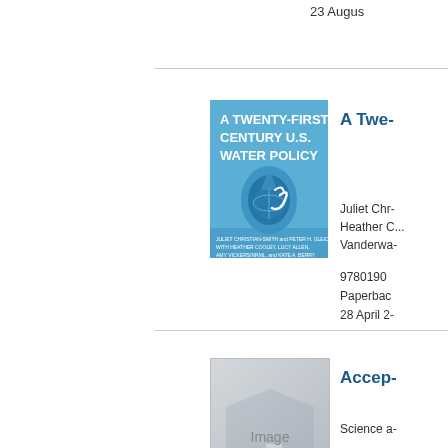23 August
[Figure (illustration): Book cover: A Twenty-First Century U.S. Water Policy, light blue cover with globe and water drop]
A Twe...
Juliet Chr...
Heather C...
Vanderwa...
9780190...
Paperback
28 April 2...
[Figure (illustration): Image Not Available placeholder with OUP watermark]
Accep...
Science a...
Deborah ...
9780195...
Paperback
19 May 1...
Environm...